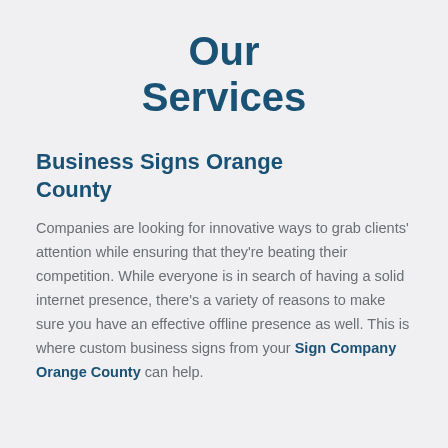Our Services
Business Signs Orange County
Companies are looking for innovative ways to grab clients' attention while ensuring that they're beating their competition. While everyone is in search of having a solid internet presence, there's a variety of reasons to make sure you have an effective offline presence as well. This is where custom business signs from your Sign Company Orange County can help.